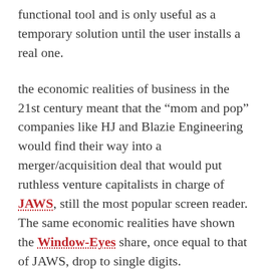functional tool and is only useful as a temporary solution until the user installs a real one.
the economic realities of business in the 21st century meant that the “mom and pop” companies like HJ and Blazie Engineering would find their way into a merger/acquisition deal that would put ruthless venture capitalists in charge of JAWS, still the most popular screen reader. The same economic realities have shown the Window-Eyes share, once equal to that of JAWS, drop to single digits.